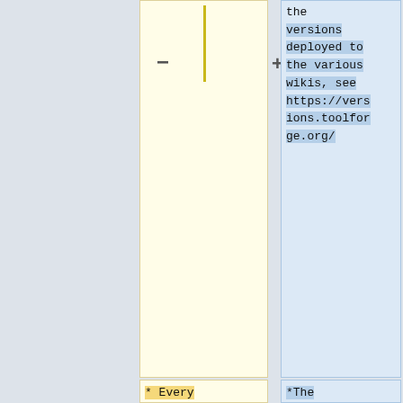the versions deployed to the various wikis, see https://versions.toolforge.org/
* Every major or new feature deployment should be announced on the Wikimedia blog and/or [[meta:Tech/News/Next|Tech News]] (use the
*The deployment commands helper can assist with which commands to run, including how to revert your change: https://depl